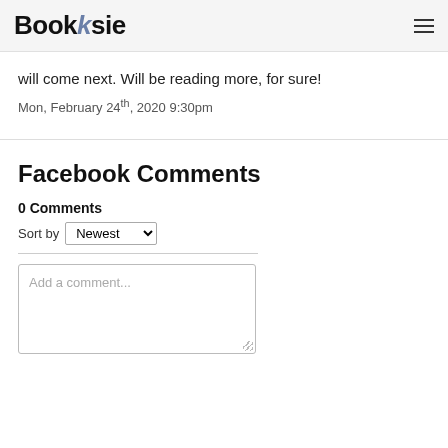Booksie
will come next. Will be reading more, for sure!
Mon, February 24th, 2020 9:30pm
Facebook Comments
0 Comments
Sort by Newest
Add a comment...